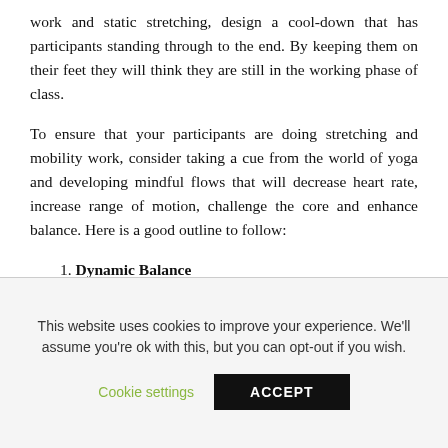work and static stretching, design a cool-down that has participants standing through to the end. By keeping them on their feet they will think they are still in the working phase of class.
To ensure that your participants are doing stretching and mobility work, consider taking a cue from the world of yoga and developing mindful flows that will decrease heart rate, increase range of motion, challenge the core and enhance balance. Here is a good outline to follow:
1. Dynamic Balance
This website uses cookies to improve your experience. We'll assume you're ok with this, but you can opt-out if you wish.